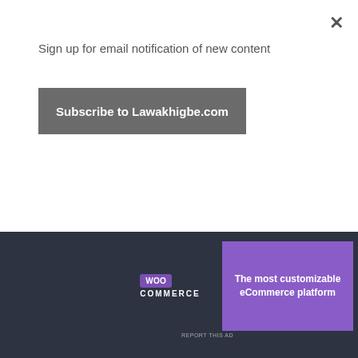Sign up for email notification of new content
Subscribe to Lawakhigbe.com
[Figure (logo): WooCommerce advertisement banner with logo on dark left panel and purple right panel with text 'The most customizable eCommerce platform']
REPORT THIS AD
His son, Seyi Tinubu now bestrides the Lagos landscape like the lord of the manor. His presence anywhere in the city sends shivers down the spine of many a government official. Like his father, he gets what he wants. His Loatsad Promedia and E-motion outdoor companies have total control of outdoor signage on most lucrative routes, viz. Lekki-Ajah and Epe axis, Falomo and Bourdillon areas of Ikoyi on the Lagos Island, Third Mainland bridge, Murtala Mohammed International